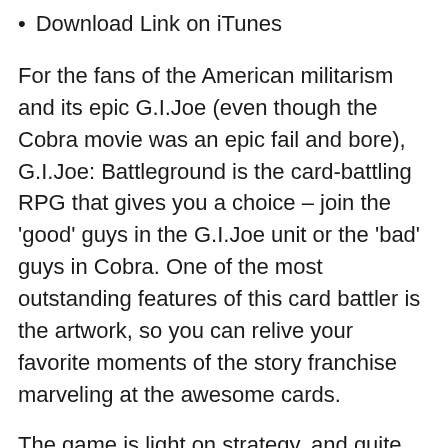Download Link on iTunes
For the fans of the American militarism and its epic G.I.Joe (even though the Cobra movie was an epic fail and bore), G.I.Joe: Battleground is the card-battling RPG that gives you a choice – join the 'good' guys in the G.I.Joe unit or the 'bad' guys in Cobra. One of the most outstanding features of this card battler is the artwork, so you can relive your favorite moments of the story franchise marveling at the awesome cards.
The game is light on strategy, and quite enjoyable for the right player, as you collect characters and train them to deploy powerful, deadly squads to battle devastating missions all over the world, and finally defeat your foes. There are some cool unlockable vehicle skills, such as the Cobra HISS tank or Conquest X-30 for the G.I.Joe squad,